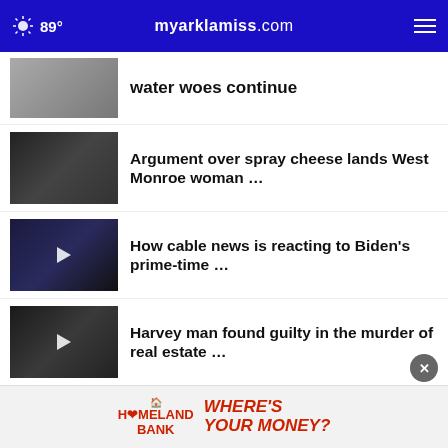89° myarklamiss.com
water woes continue
Argument over spray cheese lands West Monroe woman …
How cable news is reacting to Biden's prime-time …
Harvey man found guilty in the murder of real estate …
More Stories ›
[Figure (advertisement): Homeland Bank advertisement - WHERE'S YOUR MONEY?]